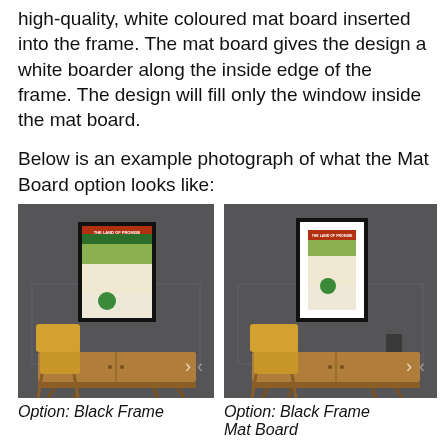high-quality, white coloured mat board inserted into the frame. The mat board gives the design a white boarder along the inside edge of the frame. The design will fill only the window inside the mat board.
Below is an example photograph of what the Mat Board option looks like:
[Figure (photo): Room scene showing a framed poster on a dark grey wall above a wooden sideboard with a yellow chair. No mat board option — black frame only.]
Option: Black Frame
[Figure (photo): Room scene showing a framed poster with white mat board on a dark grey wall above a wooden sideboard with a yellow chair. Black frame with mat board option.]
Option: Black Frame Mat Board